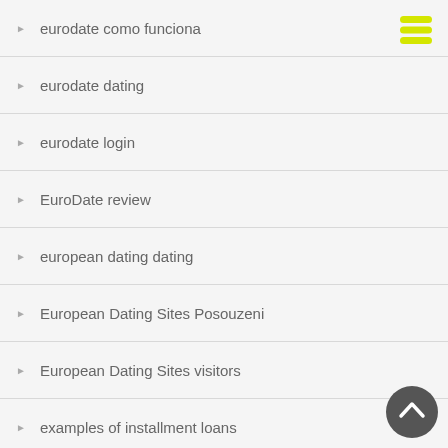eurodate como funciona
eurodate dating
eurodate login
EuroDate review
european dating dating
European Dating Sites Posouzeni
European Dating Sites visitors
examples of installment loans